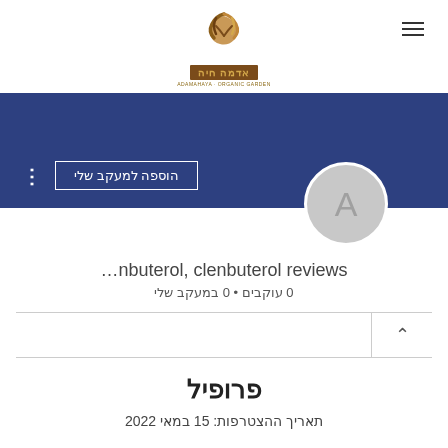אדמה חיה logo with hamburger menu
[Figure (screenshot): Blue banner with follow button, dots menu, and avatar circle with letter A]
…nbuterol, clenbuterol reviews
0 עוקבים • 0 במעקב שלי
פרופיל
תאריך ההצטרפות: 15 במאי 2022